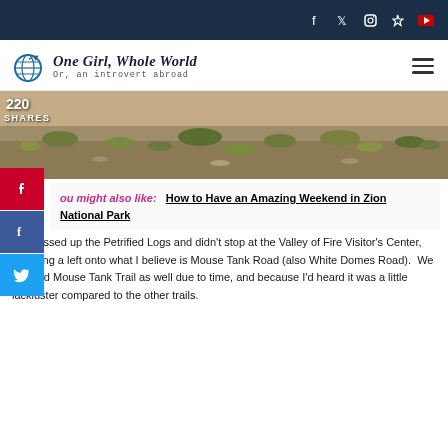Social icons: Facebook, Twitter, Instagram, Pinterest, YouTube
One Girl, Whole World — Or, an introvert abroad
[Figure (photo): Desert/scrub landscape with dry brush and rocky terrain]
220 SHARES
You might also like: How to Have an Amazing Weekend in Zion National Park
We passed up the Petrified Logs and didn't stop at the Valley of Fire Visitor's Center, but hung a left onto what I believe is Mouse Tank Road (also White Domes Road). We skipped Mouse Tank Trail as well due to time, and because I'd heard it was a little lackluster compared to the other trails.